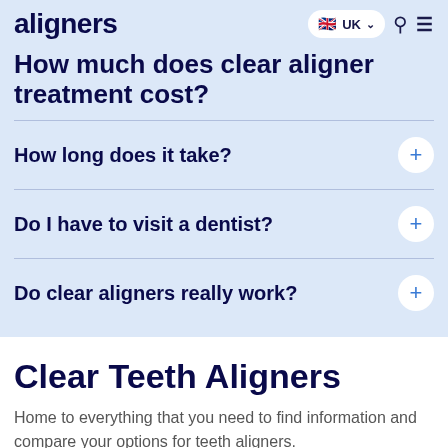aligners logo | UK | Search | Menu
How much does clear aligner treatment cost?
How long does it take?
Do I have to visit a dentist?
Do clear aligners really work?
Clear Teeth Aligners
Home to everything that you need to find information and compare your options for teeth aligners.